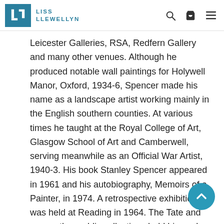LISS LLEWELLYN
Leicester Galleries, RSA, Redfern Gallery and many other venues. Although he produced notable wall paintings for Holywell Manor, Oxford, 1934-6, Spencer made his name as a landscape artist working mainly in the English southern counties. At various times he taught at the Royal College of Art, Glasgow School of Art and Camberwell, serving meanwhile as an Official War Artist, 1940-3. His book Stanley Spencer appeared in 1961 and his autobiography, Memoirs of a Painter, in 1974. A retrospective exhibition was held at Reading in 1964. The Tate and many other public collections hold his work. He